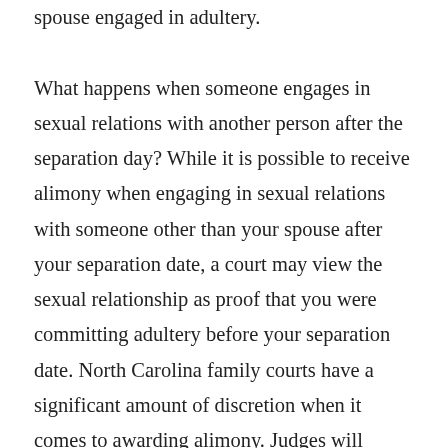spouse engaged in adultery.

What happens when someone engages in sexual relations with another person after the separation day? While it is possible to receive alimony when engaging in sexual relations with someone other than your spouse after your separation date, a court may view the sexual relationship as proof that you were committing adultery before your separation date. North Carolina family courts have a significant amount of discretion when it comes to awarding alimony. Judges will consider all of the circumstances and facts in your case when making alimons decisions. For example, if both spouses condoned adultery before the date of Separation, the judge will likely not consider adultery when making